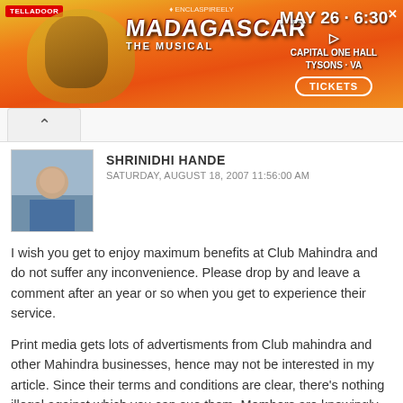[Figure (illustration): Madagascar The Musical advertisement banner with date MAY 26 - 6:30, CAPITAL ONE HALL, TYSONS - VA, TICKETS button]
SHRINIDHI HANDE
SATURDAY, AUGUST 18, 2007 11:56:00 AM
I wish you get to enjoy maximum benefits at Club Mahindra and do not suffer any inconvenience. Please drop by and leave a comment after an year or so when you get to experience their service.
Print media gets lots of advertisments from Club mahindra and other Mahindra businesses, hence may not be interested in my article. Since their terms and conditions are clear, there's nothing illegal against which you can sue them. Members are knowingly falling to trap, mainly because they dont take fine print seriously or fall pray for the lucrative picture created by sales staff and fail to ask themselves what Plan B do they have if something goes wrong...
Reply